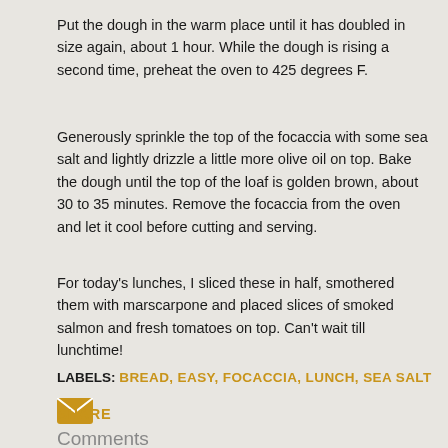Put the dough in the warm place until it has doubled in size again, about 1 hour. While the dough is rising a second time, preheat the oven to 425 degrees F.
Generously sprinkle the top of the focaccia with some sea salt and lightly drizzle a little more olive oil on top. Bake the dough until the top of the loaf is golden brown, about 30 to 35 minutes. Remove the focaccia from the oven and let it cool before cutting and serving.
For today's lunches, I sliced these in half, smothered them with marscarpone and placed slices of smoked salmon and fresh tomatoes on top. Can't wait till lunchtime!
LABELS: BREAD, EASY, FOCACCIA, LUNCH, SEA SALT
[Figure (other): Email/share icon - envelope]
SHARE
Comments